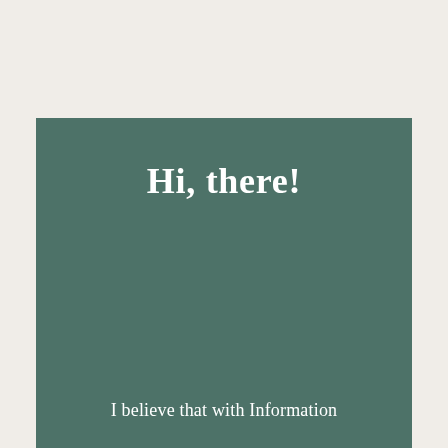Hi, there!
I believe that with Information